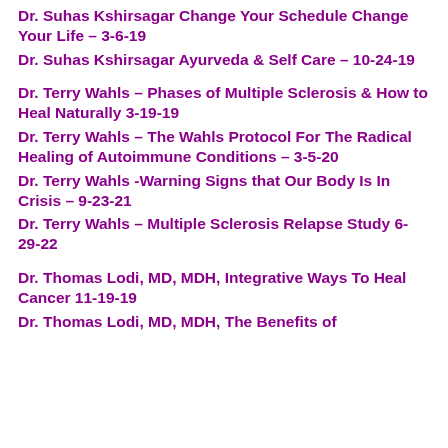Dr. Suhas Kshirsagar Change Your Schedule Change Your Life – 3-6-19
Dr. Suhas Kshirsagar Ayurveda & Self Care – 10-24-19
Dr. Terry Wahls – Phases of Multiple Sclerosis & How to Heal Naturally 3-19-19
Dr. Terry Wahls – The Wahls Protocol For The Radical Healing of Autoimmune Conditions – 3-5-20
Dr. Terry Wahls -Warning Signs that Our Body Is In Crisis – 9-23-21
Dr. Terry Wahls – Multiple Sclerosis Relapse Study 6-29-22
Dr. Thomas Lodi, MD, MDH, Integrative Ways To Heal Cancer 11-19-19
Dr. Thomas Lodi, MD, MDH, The Benefits of